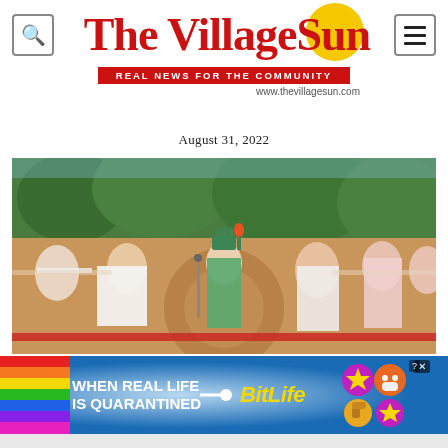The Village Sun — REAL NEWS FOR THE COMMUNITY — www.thevillagesun.com
August 31, 2022
[Figure (photo): Outdoor scene showing multiple people in costumes including a person dressed as the Statue of Liberty in the center, surrounded by other costumed performers with arms outstretched, in front of a colorful mural and trees]
[Figure (infographic): Advertisement banner for BitLife mobile game with rainbow stripe on left, text 'WHEN REAL LIFE IS QUARANTINED' on dark blue background, BitLife logo in yellow, and game character icons on right]